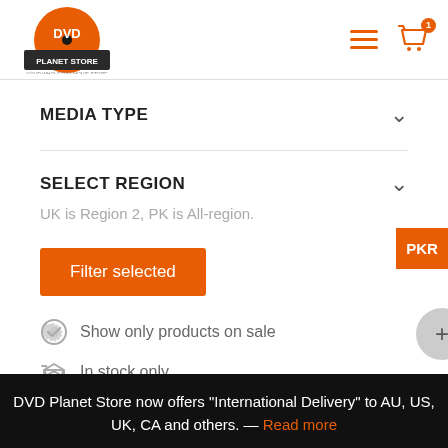[Figure (logo): DVD Planet Store logo - orange disc with DVD text and planet store banner]
MEDIA TYPE
SELECT REGION
UK is Region 2, PK is All-region.
Filter selected
Show only products on sale
In stock only
DVD Planet Store now offers "International Delivery" to AU, US, UK, CA and others. — Read more